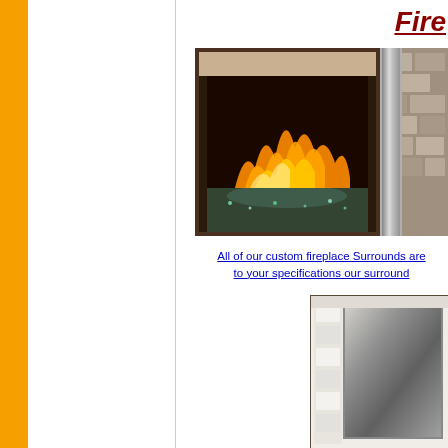Fire
[Figure (photo): Custom fireplace surround with flames and glass beads, metallic dark frame]
[Figure (photo): Partial view of a fireplace surround, stone wall visible]
All of our custom fireplace Surrounds are to your specifications our surround
[Figure (photo): Close-up of a white fireplace surround with metallic insert, decorative vertical panels visible]